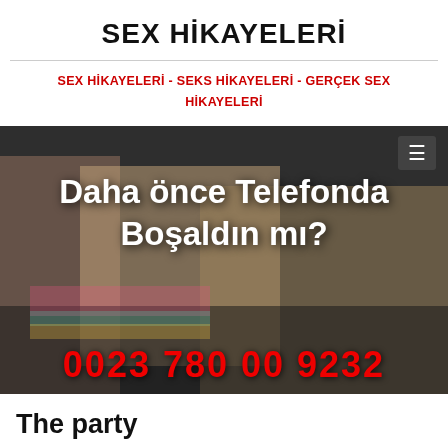SEX HİKAYELERİ
SEX HİKAYELERİ - SEKS HİKAYELERİ - GERÇEK SEX HİKAYELERİ
[Figure (photo): Banner image with text overlay reading 'Daha önce Telefonda Boşaldın mı?' and phone number 0023 780 00 9232, with a hamburger menu icon in top right corner]
The party